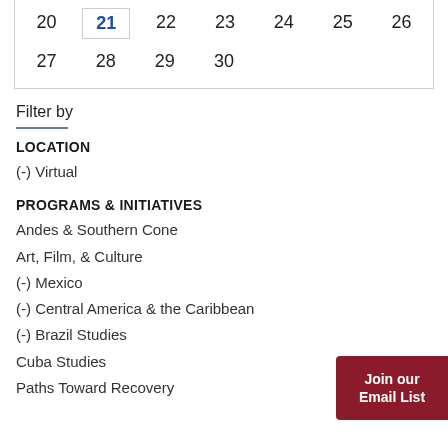| 20 | 21 | 22 | 23 | 24 | 25 | 26 |
| 27 | 28 | 29 | 30 |  |  |  |
Filter by
LOCATION
(-) Virtual
PROGRAMS & INITIATIVES
Andes & Southern Cone
Art, Film, & Culture
(-) Mexico
(-) Central America & the Caribbean
(-) Brazil Studies
Cuba Studies
Paths Toward Recovery
Join our Email List